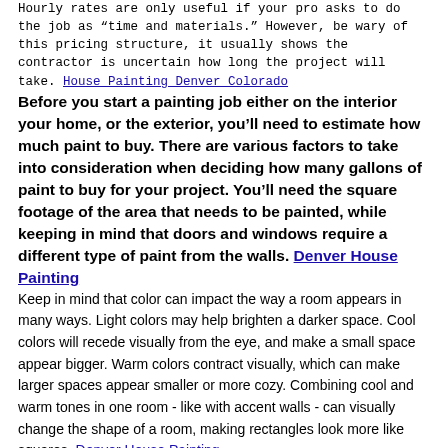Hourly rates are only useful if your pro asks to do the job as “time and materials.” However, be wary of this pricing structure, it usually shows the contractor is uncertain how long the project will take. House Painting Denver Colorado
Before you start a painting job either on the interior your home, or the exterior, you’ll need to estimate how much paint to buy. There are various factors to take into consideration when deciding how many gallons of paint to buy for your project. You’ll need the square footage of the area that needs to be painted, while keeping in mind that doors and windows require a different type of paint from the walls. Denver House Painting
Keep in mind that color can impact the way a room appears in many ways. Light colors may help brighten a darker space. Cool colors will recede visually from the eye, and make a small space appear bigger. Warm colors contract visually, which can make larger spaces appear smaller or more cozy. Combining cool and warm tones in one room - like with accent walls - can visually change the shape of a room, making rectangles look more like squares. Denver House Painting
Some siding on older homes might need so much repair that it is more cost-effective to replace the siding rather than repair it all and